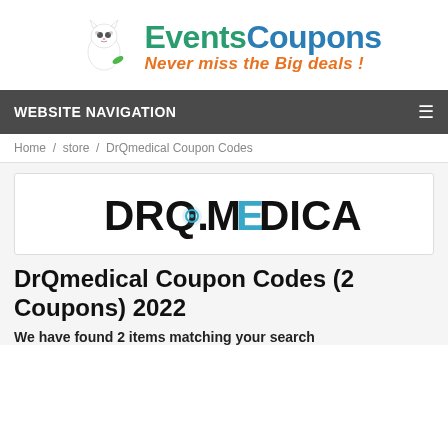[Figure (logo): EventsCoupons website logo with cat mascot, green crescent, and text 'EventsCoupons Never miss the Big deals!']
WEBSITE NAVIGATION
Home / store / DrQmedical Coupon Codes
[Figure (logo): DRQ.MEDICAL store logo in bold black text with teal colored 'E']
DrQmedical Coupon Codes (2 Coupons) 2022
We have found 2 items matching your search